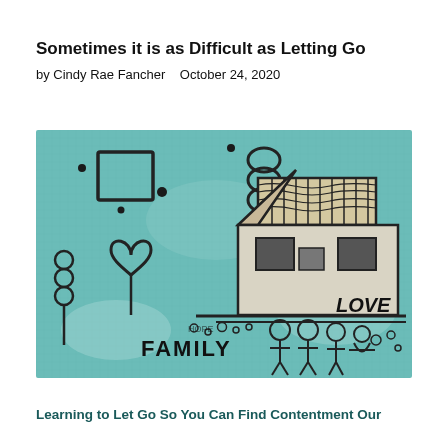Sometimes it is as Difficult as Letting Go
by Cindy Rae Fancher    October 24, 2020
[Figure (illustration): A childlike drawing on teal/blue textured background featuring a house with striped roof, a heart tree, stick figures labeled FAMILY, word LOVE, squares, circles, and small doodles.]
Learning to Let Go So You Can Find Contentment Our